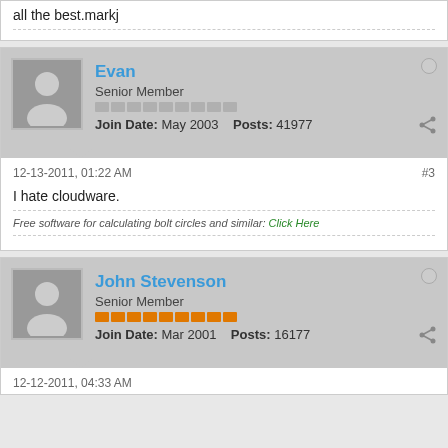all the best.markj
Evan
Senior Member
Join Date: May 2003   Posts: 41977
12-13-2011, 01:22 AM
#3
I hate cloudware.
Free software for calculating bolt circles and similar: Click Here
John Stevenson
Senior Member
Join Date: Mar 2001   Posts: 16177